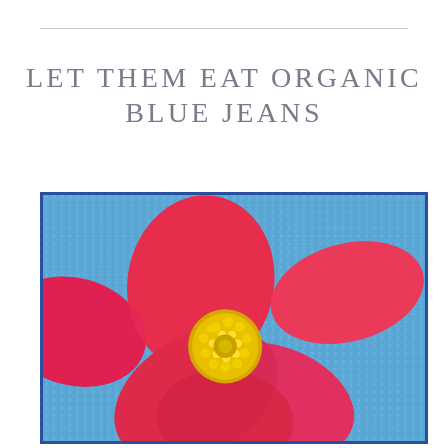LET THEM EAT ORGANIC BLUE JEANS
[Figure (photo): Close-up photograph of a red flower (begonia) with yellow stamens/pistils in the center, resting on blue denim fabric. The flower has broad red petals and a prominent yellow center cluster. The image is framed with a blue border.]